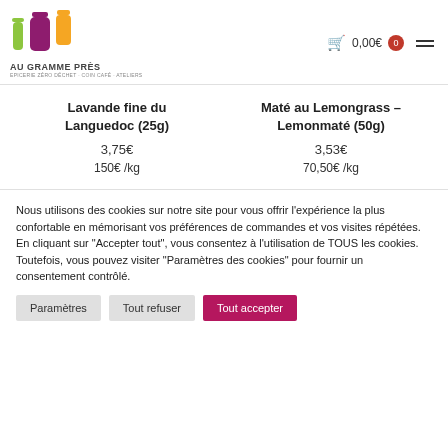[Figure (logo): Au Gramme Près logo with three bottle silhouettes in green, purple, and yellow colors]
0,00€  0
Lavande fine du Languedoc (25g)
3,75€
150€ /kg
Maté au Lemongrass – Lemonmaté (50g)
3,53€
70,50€ /kg
Nous utilisons des cookies sur notre site pour vous offrir l'expérience la plus confortable en mémorisant vos préférences de commandes et vos visites répétées. En cliquant sur "Accepter tout", vous consentez à l'utilisation de TOUS les cookies. Toutefois, vous pouvez visiter "Paramètres des cookies" pour fournir un consentement contrôlé.
Paramètres
Tout refuser
Tout accepter